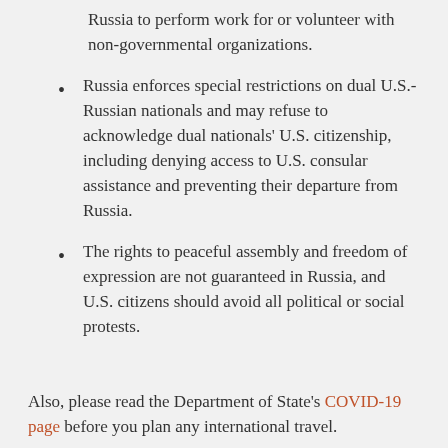Russia to perform work for or volunteer with non-governmental organizations.
Russia enforces special restrictions on dual U.S.-Russian nationals and may refuse to acknowledge dual nationals' U.S. citizenship, including denying access to U.S. consular assistance and preventing their departure from Russia.
The rights to peaceful assembly and freedom of expression are not guaranteed in Russia, and U.S. citizens should avoid all political or social protests.
Also, please read the Department of State's COVID-19 page before you plan any international travel.
Travelers to Russia may experience border closures, airport closures, travel prohibitions, stay at home orders, business